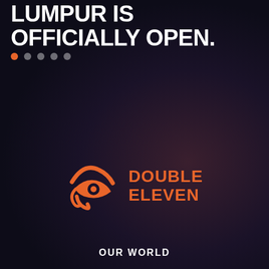LUMPUR IS OFFICIALLY OPEN.
[Figure (logo): Double Eleven company logo — orange Eye of Horus / stylized eye icon on the left, with 'DOUBLE ELEVEN' text in orange bold uppercase on the right]
OUR WORLD